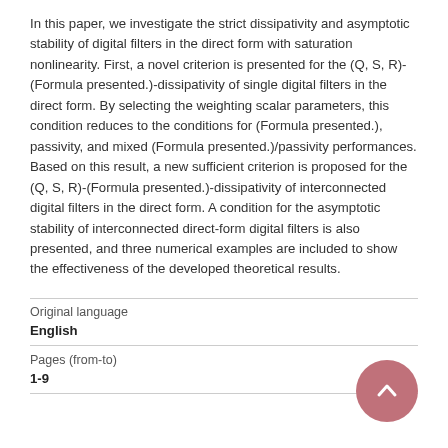In this paper, we investigate the strict dissipativity and asymptotic stability of digital filters in the direct form with saturation nonlinearity. First, a novel criterion is presented for the (Q, S, R)-(Formula presented.)-dissipativity of single digital filters in the direct form. By selecting the weighting scalar parameters, this condition reduces to the conditions for (Formula presented.), passivity, and mixed (Formula presented.)/passivity performances. Based on this result, a new sufficient criterion is proposed for the (Q, S, R)-(Formula presented.)-dissipativity of interconnected digital filters in the direct form. A condition for the asymptotic stability of interconnected direct-form digital filters is also presented, and three numerical examples are included to show the effectiveness of the developed theoretical results.
| Property | Value |
| --- | --- |
| Original language | English |
| Pages (from-to) | 1-9 |